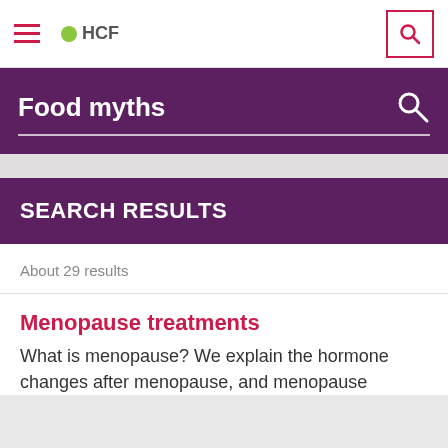HCF
Food myths
SEARCH RESULTS
About 29 results
Menopause treatments
What is menopause? We explain the hormone changes after menopause, and menopause